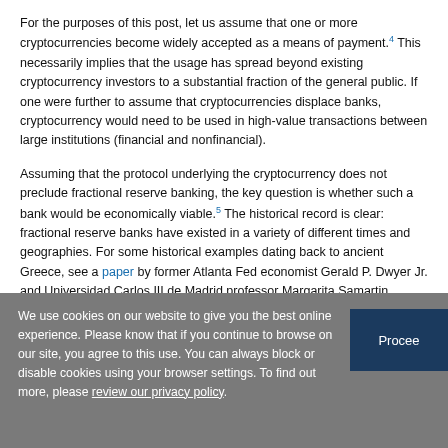For the purposes of this post, let us assume that one or more cryptocurrencies become widely accepted as a means of payment.[4] This necessarily implies that the usage has spread beyond existing cryptocurrency investors to a substantial fraction of the general public. If one were further to assume that cryptocurrencies displace banks, cryptocurrency would need to be used in high-value transactions between large institutions (financial and nonfinancial).
Assuming that the protocol underlying the cryptocurrency does not preclude fractional reserve banking, the key question is whether such a bank would be economically viable.[5] The historical record is clear: fractional reserve banks have existed in a variety of different times and geographies. For some historical examples dating back to ancient Greece, see a paper by former Atlanta Fed economist Gerald P. Dwyer Jr. and Universidad Carlos III de Madrid professor Margarita Samartin (2009).
We use cookies on our website to give you the best online experience. Please know that if you continue to browse on our site, you agree to this use. You can always block or disable cookies using your browser settings. To find out more, please review our privacy policy.